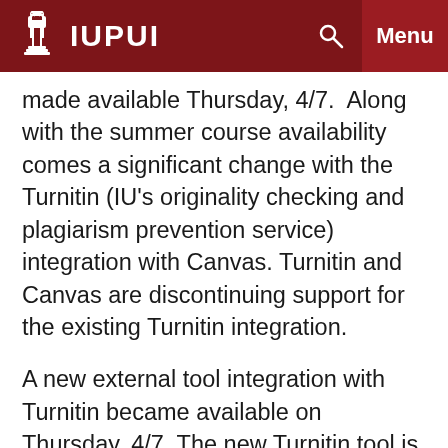IUPUI
made available Thursday, 4/7.  Along with the summer course availability comes a significant change with the Turnitin (IU's originality checking and plagiarism prevention service) integration with Canvas. Turnitin and Canvas are discontinuing support for the existing Turnitin integration.
A new external tool integration with Turnitin became available on Thursday, 4/7. The new Turnitin tool is a substantial upgrade in security over the previous version. However, there are some significant changes in the